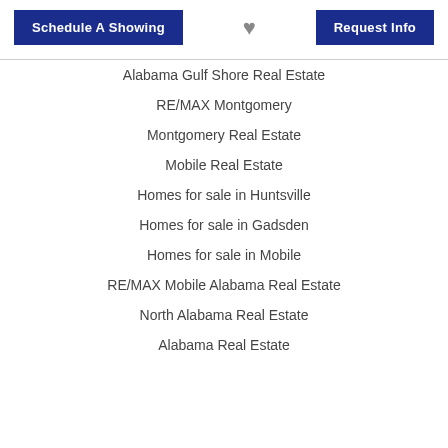Schedule A Showing | [heart icon] | Request Info
Alabama Gulf Shore Real Estate
RE/MAX Montgomery
Montgomery Real Estate
Mobile Real Estate
Homes for sale in Huntsville
Homes for sale in Gadsden
Homes for sale in Mobile
RE/MAX Mobile Alabama Real Estate
North Alabama Real Estate
Alabama Real Estate